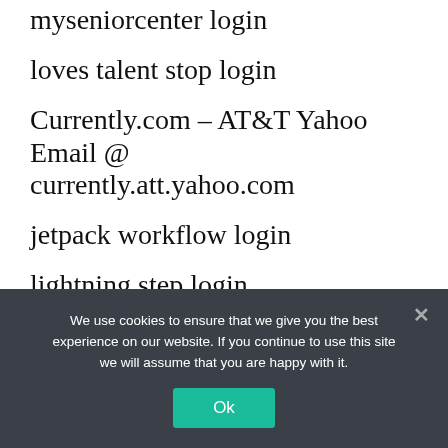myseniorcenter login
loves talent stop login
Currently.com – AT&T Yahoo Email @ currently.att.yahoo.com
jetpack workflow login
lightning step login
lds.org/lcr login
just works login
victory capital usaa login
We use cookies to ensure that we give you the best experience on our website. If you continue to use this site we will assume that you are happy with it.
Ok